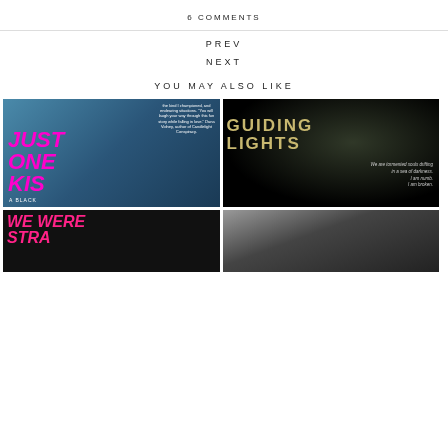6 COMMENTS
PREV
NEXT
YOU MAY ALSO LIKE
[Figure (photo): Book cover: Just One Kiss - A Black Kiss title, pink bold italic text on blue background, two figures standing]
[Figure (photo): Book cover: Guiding Lights - gold/olive title text on dark background with underwater diver silhouette, tagline 'We are tormented souls drifting in a sea of darkness. I am numb. I am broken.']
[Figure (photo): Book cover: We Were Strangers - bright pink bold italic text on dark background]
[Figure (photo): Dark monochrome photo book cover with a figure in an interior setting]